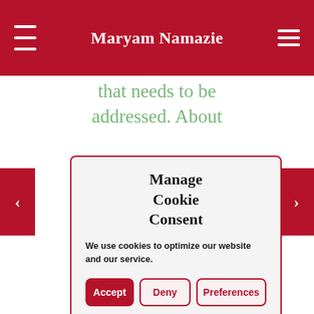Maryam Namazie
that needs to be addressed. About
[Figure (screenshot): Cookie consent modal dialog with title 'Manage Cookie Consent', body text 'We use cookies to optimize our website and our service.', and three buttons: Accept, Deny, Preferences]
witness (anonymous to me as the reader) that is vague in details, then its hard for